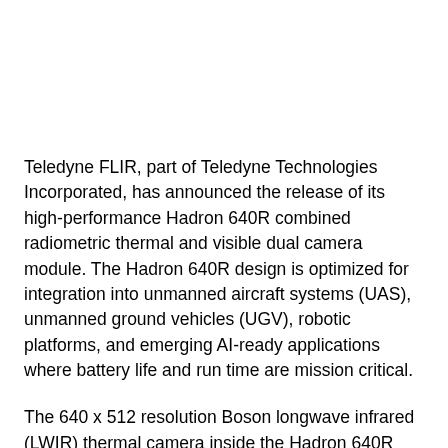Teledyne FLIR, part of Teledyne Technologies Incorporated, has announced the release of its high-performance Hadron 640R combined radiometric thermal and visible dual camera module. The Hadron 640R design is optimized for integration into unmanned aircraft systems (UAS), unmanned ground vehicles (UGV), robotic platforms, and emerging AI-ready applications where battery life and run time are mission critical.
The 640 x 512 resolution Boson longwave infrared (LWIR) thermal camera inside the Hadron 640R can see through total darkness, smoke, most fog, glare, and provide temperature measurements for every pixel in the scene. The addition of the